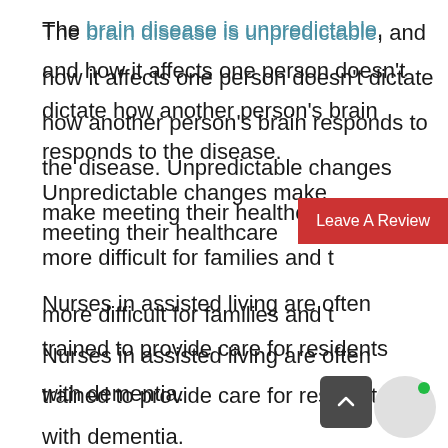The brain disease is unpredictable, and how it affects one person doesn't dictate how another person's brain responds to the disease. Unpredictable changes make meeting their healthcare needs more difficult for families and caregivers. Nurses in assisted living are often trained to provide care for residents with dementia.